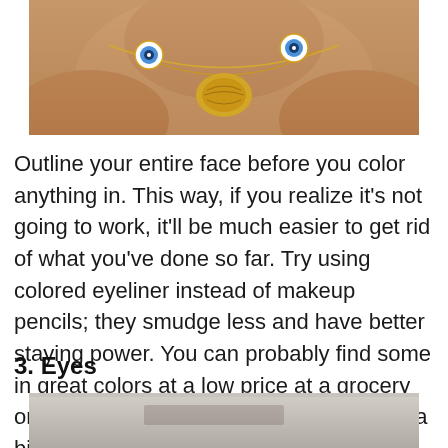[Figure (photo): Photo of a person's neck and chest area wearing a gold chain necklace with evil eye charms and a decorative gold name pendant.]
Outline your entire face before you color anything in. This way, if you realize it's not going to work, it'll be much easier to get rid of what you've done so far. Try using colored eyeliner instead of makeup pencils; they smudge less and have better staying power. You can probably find some in great colors at a low price at a grocery or drug store. There's no need to go with a big name brand for just one night.
3. Eyes
[Figure (photo): Partial photo visible at the bottom of the page, appears to be a close-up image related to eyes or face makeup.]